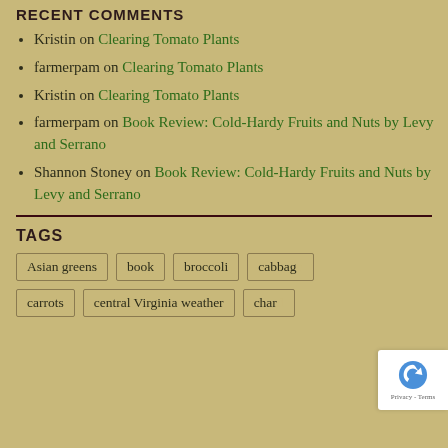RECENT COMMENTS
Kristin on Clearing Tomato Plants
farmerpam on Clearing Tomato Plants
Kristin on Clearing Tomato Plants
farmerpam on Book Review: Cold-Hardy Fruits and Nuts by Levy and Serrano
Shannon Stoney on Book Review: Cold-Hardy Fruits and Nuts by Levy and Serrano
TAGS
Asian greens
book
broccoli
cabbage
carrots
central Virginia weather
chard